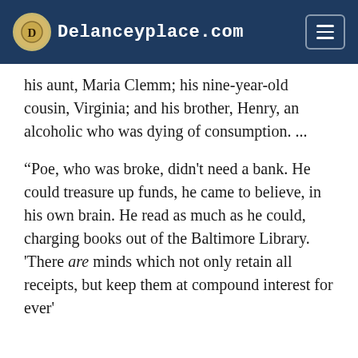Delanceyplace.com
his aunt, Maria Clemm; his nine-year-old cousin, Virginia; and his brother, Henry, an alcoholic who was dying of consumption. ...
“Poe, who was broke, didn't need a bank. He could treasure up funds, he came to believe, in his own brain. He read as much as he could, charging books out of the Baltimore Library. 'There are minds which not only retain all receipts, but keep them at compound interest for ever'